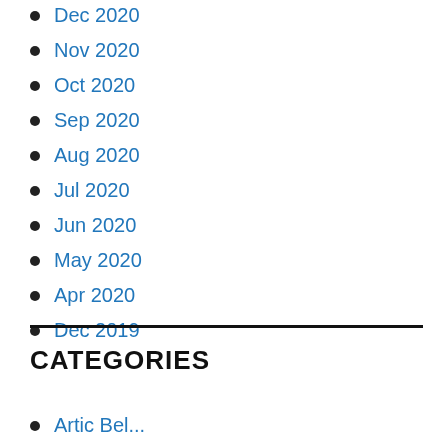Dec 2020
Nov 2020
Oct 2020
Sep 2020
Aug 2020
Jul 2020
Jun 2020
May 2020
Apr 2020
Dec 2019
CATEGORIES
Artic Bel...